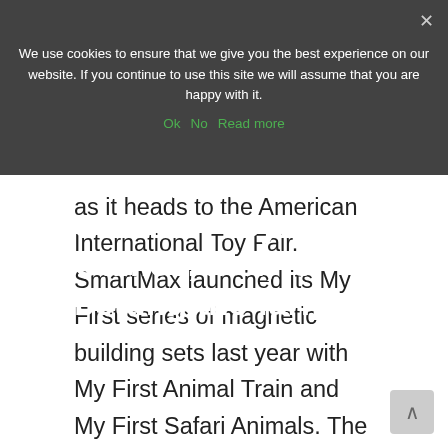Mix and Match Farm Sets
We use cookies to ensure that we give you the best experience on our website. If you continue to use this site we will assume that you are happy with it.
Ok   No   Read more
Specialty toy maker SmartMax, a division of Smart Toys and Games, Inc., is betting the farm as it heads to the American International Toy Fair. SmartMax launched its My First series of magnetic building sets last year with My First Animal Train and My First Safari Animals. The mix and match farm sets exceeded all expectations, and My First Safari Animals is a Finalist for The Toy Association’s 2018 Specialty Toy Of The Year. To continue delighting youngsters (and retailers), SmartMax introduces My First Farm Animals ($19.99) and My First Tractor Set ($24.99).